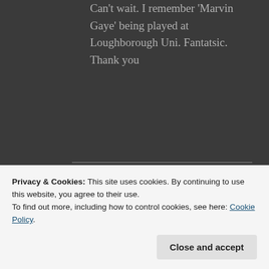Can't wait. I remember 'Marvin Gaye' being played at Loughborough Uni. Fantatsic. Thank you
[Figure (illustration): Day One journaling app advertisement banner on blue background with a figure holding a box, app name 'DAY ONE' and tagline 'The only journaling app you'll ever need.']
Privacy & Cookies: This site uses cookies. By continuing to use this website, you agree to their use.
To find out more, including how to control cookies, see here: Cookie Policy
Close and accept